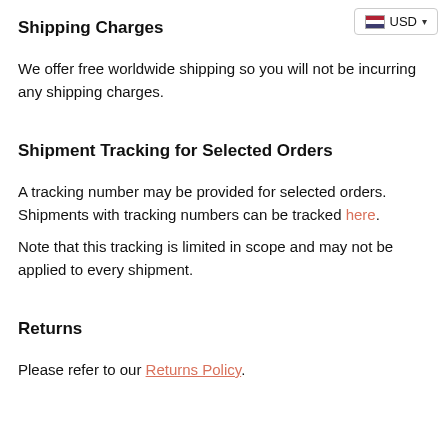USD
Shipping Charges
We offer free worldwide shipping so you will not be incurring any shipping charges.
Shipment Tracking for Selected Orders
A tracking number may be provided for selected orders. Shipments with tracking numbers can be tracked here.
Note that this tracking is limited in scope and may not be applied to every shipment.
Returns
Please refer to our Returns Policy.